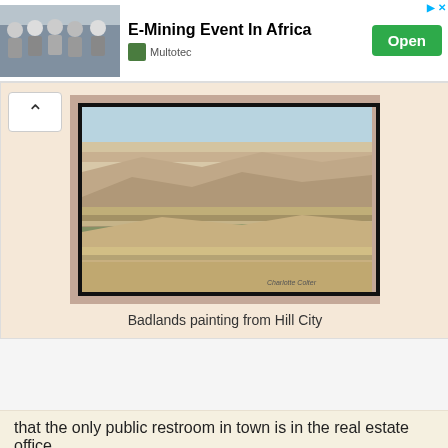[Figure (screenshot): Advertisement banner: E-Mining Event In Africa, Multotec, with group photo and Open button]
[Figure (photo): Badlands painting from Hill City — a colorful painting of badlands landscape with layered rock formations in pinks, yellows, greens]
Badlands painting from Hill City
that the only public restroom in town is in the real estate office.
[Figure (photo): Ceramic vases — a blue cobalt vase and another vase on a warm background]